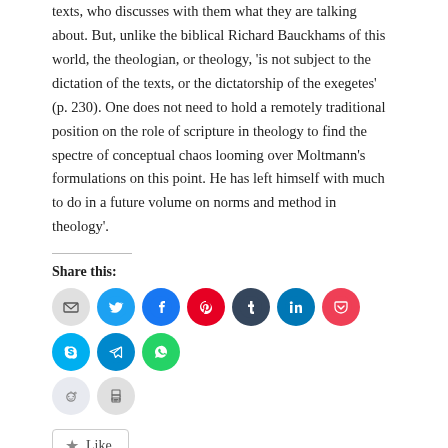texts, who discusses with them what they are talking about. But, unlike the biblical Richard Bauckhams of this world, the theologian, or theology, 'is not subject to the dictation of the texts, or the dictatorship of the exegetes' (p. 230). One does not need to hold a remotely traditional position on the role of scripture in theology to find the spectre of conceptual chaos looming over Moltmann's formulations on this point. He has left himself with much to do in a future volume on norms and method in theology'.
Share this:
[Figure (infographic): Social media sharing icons: email, Twitter, Facebook, Pinterest, Tumblr, LinkedIn, Pocket, Skype, Telegram, WhatsApp, Reddit, Print]
Like
Be the first to like this.
Posted in Biblical theology, Jürgen Moltmann, Richard Bauckham, Scripture and tagged Exegesis, Jürgen Moltmann, Richard Bauckham, Scripture and Theology on 17 May, 2008. 1 Comment